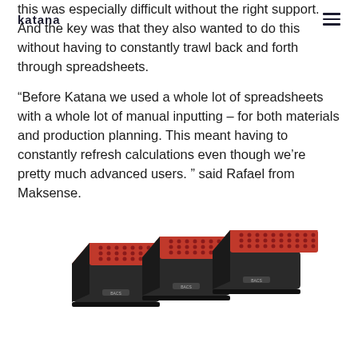katana
this was especially difficult without the right support. And the key was that they also wanted to do this without having to constantly trawl back and forth through spreadsheets.
“Before Katana we used a whole lot of spreadsheets with a whole lot of manual inputting – for both materials and production planning. This meant having to constantly refresh calculations even though we’re pretty much advanced users. ” said Rafael from Maksense.
[Figure (photo): Three red and black rectangular boxes with perforated tops arranged side by side, slightly overlapping, product photo of Maksense device]